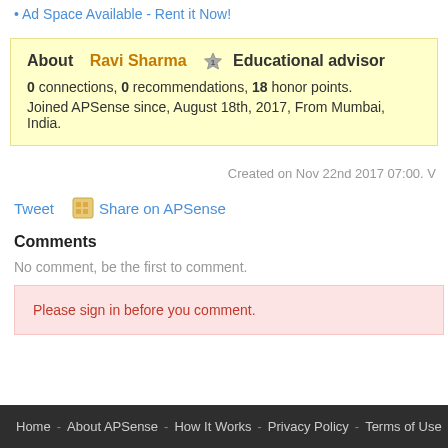Ad Space Available - Rent it Now!
About Ravi Sharma ★ Educational advisor
0 connections, 0 recommendations, 18 honor points.
Joined APSense since, August 18th, 2017, From Mumbai, India.
Created on Nov 22nd 2017 07:00. V
Tweet   Share on APSense
Comments
No comment, be the first to comment.
Please sign in before you comment.
Home - About APSense - How It Works - Privacy Policy - Terms of Use - Contact Us